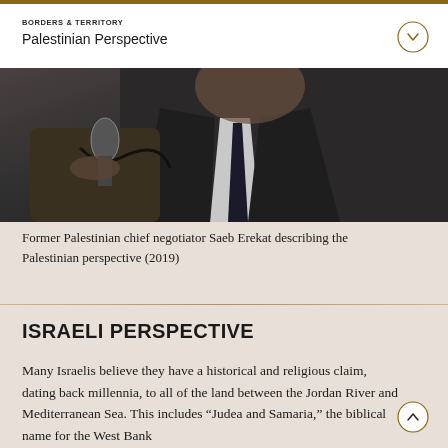BORDERS & TERRITORY
Palestinian Perspective
[Figure (photo): Former Palestinian chief negotiator Saeb Erekat speaking into a microphone, wearing a dark suit. An orange circle partially visible in the background.]
Former Palestinian chief negotiator Saeb Erekat describing the Palestinian perspective (2019)
ISRAELI PERSPECTIVE
Many Israelis believe they have a historical and religious claim, dating back millennia, to all of the land between the Jordan River and Mediterranean Sea. This includes "Judea and Samaria," the biblical name for the West Bank